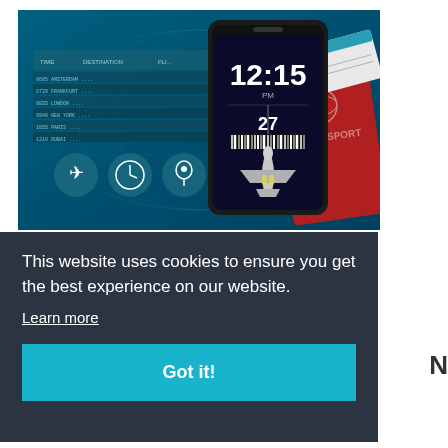[Figure (illustration): Travel illustration showing a smartphone with time display 12:15 PM and date 27, a red passport, boarding pass ticket, and an airplane, all on a dark teal world map background with flight information board icons.]
This website uses cookies to ensure you get the best experience on our website.
Learn more
Got it!